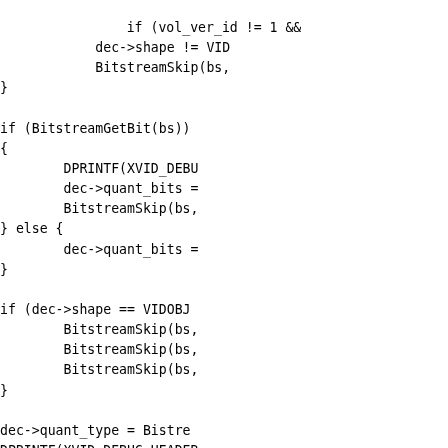if (vol_ver_id != 1 &&
            dec->shape != VID
            BitstreamSkip(bs,
}

if (BitstreamGetBit(bs))
{
        DPRINTF(XVID_DEBU
        dec->quant_bits =
        BitstreamSkip(bs,
} else {
        dec->quant_bits =
}

if (dec->shape == VIDOBJ
        BitstreamSkip(bs,
        BitstreamSkip(bs,
        BitstreamSkip(bs,
}

dec->quant_type = Bistre
DPRINTF(XVID_DEBUG_HEADER

if (dec->quant_type) {
        if (BitstreamGetB
        {
                uint8_t r

                DPRINTF(X